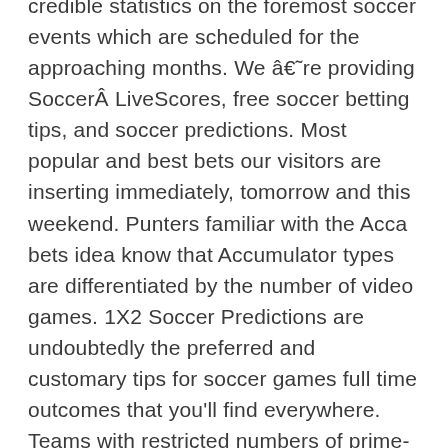credible statistics on the foremost soccer events which are scheduled for the approaching months. We â€˜re providing SoccerÂ LiveScores, free soccer betting tips, and soccer predictions. Most popular and best bets our visitors are inserting immediately, tomorrow and this weekend. Punters familiar with the Acca bets idea know that Accumulator types are differentiated by the number of video games. 1X2 Soccer Predictions are undoubtedly the preferred and customary tips for soccer games full time outcomes that you'll find everywhere. Teams with restricted numbers of prime-class players typically experience difficulties in the midst of the league season especially when they're additionally engaged in the Europa League or Champions League. Why not try